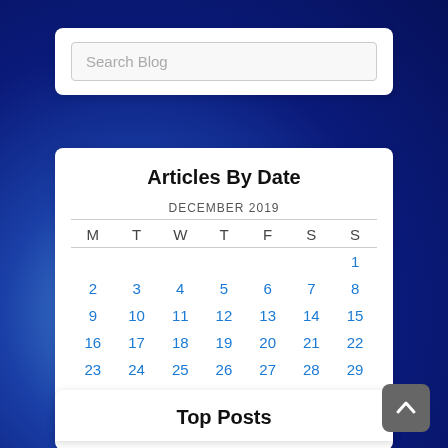Search Blog
Articles By Date
| M | T | W | T | F | S | S |
| --- | --- | --- | --- | --- | --- | --- |
|  |  |  |  |  |  | 1 |
| 2 | 3 | 4 | 5 | 6 | 7 | 8 |
| 9 | 10 | 11 | 12 | 13 | 14 | 15 |
| 16 | 17 | 18 | 19 | 20 | 21 | 22 |
| 23 | 24 | 25 | 26 | 27 | 28 | 29 |
| 30 | 31 |  |  |  |  |  |
« Nov   Jan »
Top Posts